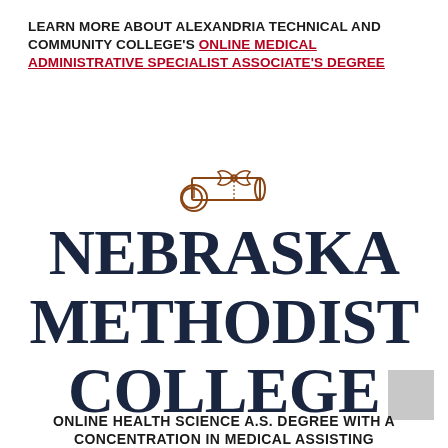LEARN MORE ABOUT ALEXANDRIA TECHNICAL AND COMMUNITY COLLEGE'S ONLINE MEDICAL ADMINISTRATIVE SPECIALIST ASSOCIATE'S DEGREE
[Figure (illustration): Diploma scroll icon — a rolled scroll tied with a ribbon, drawn in brown/orange outline style]
NEBRASKA METHODIST COLLEGE
ONLINE HEALTH SCIENCE A.S. DEGREE WITH A CONCENTRATION IN MEDICAL ASSISTING